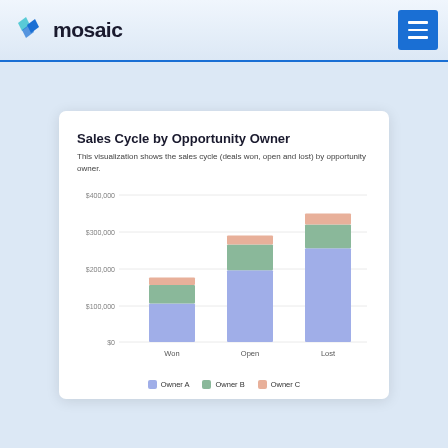mosaic
Sales Cycle by Opportunity Owner
This visualization shows the sales cycle (deals won, open and lost) by opportunity owner.
[Figure (stacked-bar-chart): Sales Cycle by Opportunity Owner]